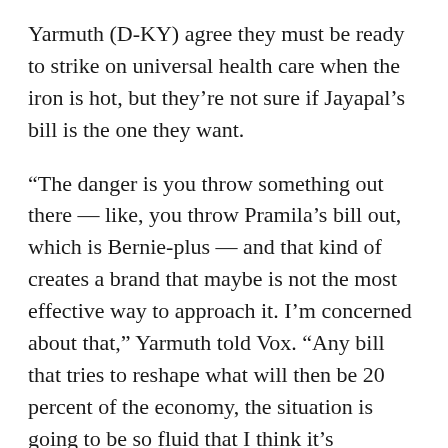Yarmuth (D-KY) agree they must be ready to strike on universal health care when the iron is hot, but they're not sure if Jayapal's bill is the one they want.
“The danger is you throw something out there — like, you throw Pramila’s bill out, which is Bernie-plus — and that kind of creates a brand that maybe is not the most effective way to approach it. I’m concerned about that,” Yarmuth told Vox. “Any bill that tries to reshape what will then be 20 percent of the economy, the situation is going to be so fluid that I think it’s important we have a starting point.”
Even though Yarmuth is wary of pushing the health care debate too far to the left, he has nothing but praise for Jayapal herself.
“People consider her a serious thinker, a serious